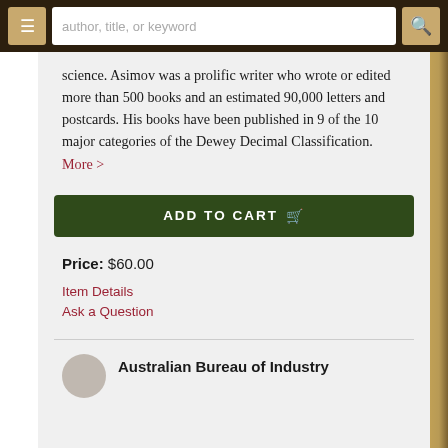author, title, or keyword
science. Asimov was a prolific writer who wrote or edited more than 500 books and an estimated 90,000 letters and postcards. His books have been published in 9 of the 10 major categories of the Dewey Decimal Classification. More >
ADD TO CART
Price: $60.00
Item Details
Ask a Question
Australian Bureau of Industry